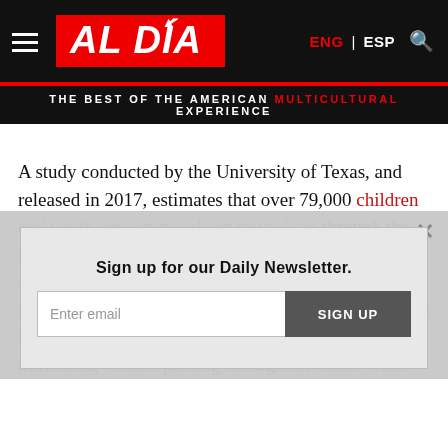AL DÍA – THE BEST OF THE AMERICAN MULTICULTURAL EXPERIENCE
A study conducted by the University of Texas, and released in 2017, estimates that over 79,000 children and youth are victims of sex trafficking through the state of Texas. Juarez is just over the Rio Grande, about a half an hour drive from El Paso. The same study found that Texas ranks 2nd in human trafficking in the United States, with 1 out of every 5 human trafficking victims passing through the State. While statistics involving only women being sex trafficked throughout Mexico and those trafficked into the United States still needs more studies…
Sign up for our Daily Newsletter.